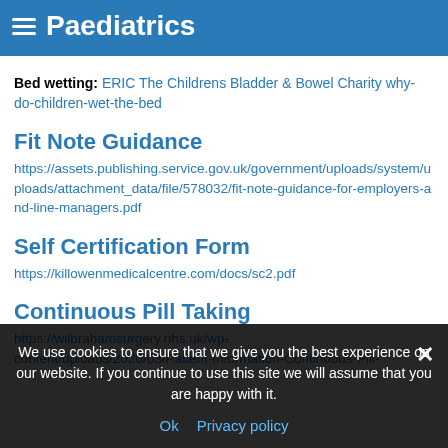Paediatrics
Bed wetting: ERIC The Childrens Bladder & Bowel Charity why-do-children-wet-the-bed
Fit Note Guidance
https://assets.publishing.service.gov.uk/government/uploads/system/uploads/attachment_data/file/578032/fit-note-guidance-for-employers-and-line-managers.pdf
Self Certification Form
https://killowenmedicalcentre.com/docs/sc2.pdf
Continuous Pill Taking
https://wilbrahamsurgery.nhs.uk/wp-content/uploads/2020/03/Patient-Information-Continuous-Pill-
We use cookies to ensure that we give you the best experience on our website. If you continue to use this site we will assume that you are happy with it.
Ok   Privacy policy